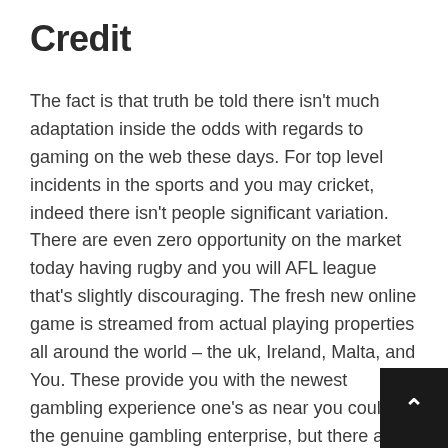Credit
The fact is that truth be told there isn't much adaptation inside the odds with regards to gaming on the web these days. For top level incidents in the sports and you may cricket, indeed there isn't people significant variation. There are even zero opportunity on the market today having rugby and you will AFL league that's slightly discouraging. The fresh new online game is streamed from actual playing properties all around the world – the uk, Ireland, Malta, and You. These provide you with the newest gambling experience one's as near you could on the genuine gambling enterprise, but there are numerous defects. First, what's good for a bona fide casino isn't perfect for an internet you to.